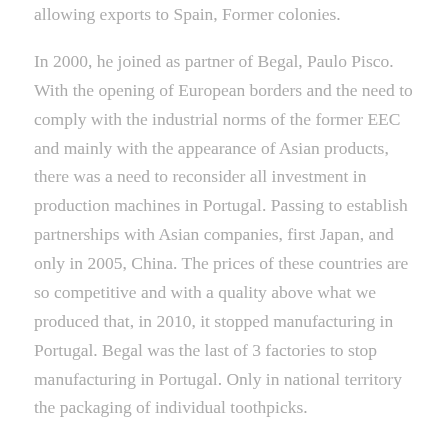allowing exports to Spain, Former colonies.
In 2000, he joined as partner of Begal, Paulo Pisco. With the opening of European borders and the need to comply with the industrial norms of the former EEC and mainly with the appearance of Asian products, there was a need to reconsider all investment in production machines in Portugal. Passing to establish partnerships with Asian companies, first Japan, and only in 2005, China. The prices of these countries are so competitive and with a quality above what we produced that, in 2010, it stopped manufacturing in Portugal. Begal was the last of 3 factories to stop manufacturing in Portugal. Only in national territory the packaging of individual toothpicks.
With the need to diversify the products sold by Begal, and with a sense of ecological responsibility, we started to buy wooden cutlery and coffee stirrers, to replace the same plastic product. In this sense, we will need to purchase